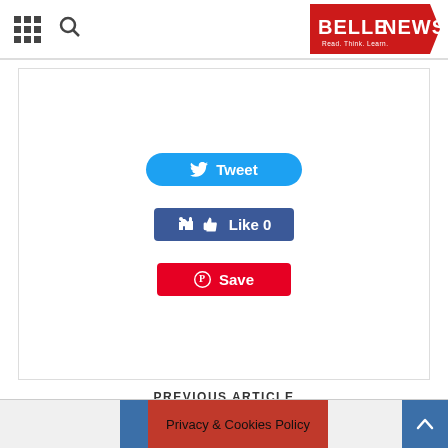BELLE NEWS
[Figure (screenshot): Social sharing buttons: Tweet (Twitter), Like 0 (Facebook), Save (Pinterest)]
PREVIOUS ARTICLE
3 Ways to Counteract Bad Press in Healthcare
NEXT ARTICLE
Gambia Elections 2016: Security Forces Take Over Electoral Commission HQ
Privacy & Cookies Policy